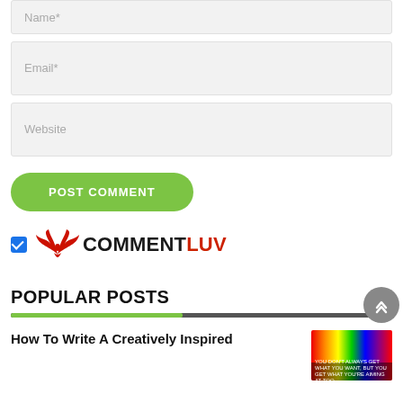Name*
Email*
Website
POST COMMENT
[Figure (logo): CommentLuv logo with red phoenix wings and COMMENTLUV text, with blue checkbox to the left]
POPULAR POSTS
How To Write A Creatively Inspired